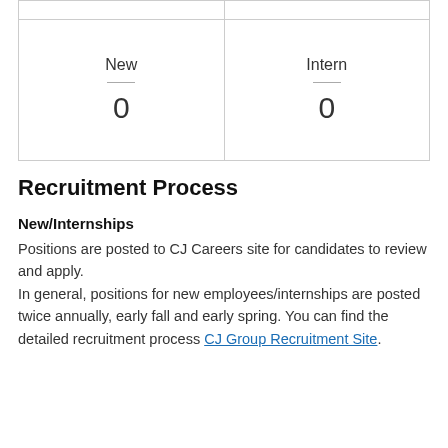| New | Intern |
| --- | --- |
| 0 | 0 |
Recruitment Process
New/Internships
Positions are posted to CJ Careers site for candidates to review and apply.
In general, positions for new employees/internships are posted twice annually, early fall and early spring. You can find the detailed recruitment process CJ Group Recruitment Site.